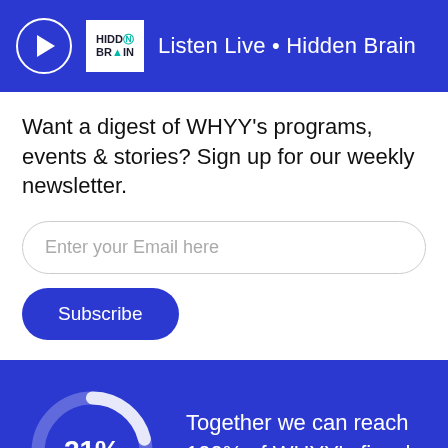Listen Live • Hidden Brain
Want a digest of WHYY's programs, events & stories? Sign up for our weekly newsletter.
[Figure (other): Email input field with placeholder text 'Enter your Email here' and a Subscribe button]
[Figure (donut-chart): Donut chart showing 21% progress]